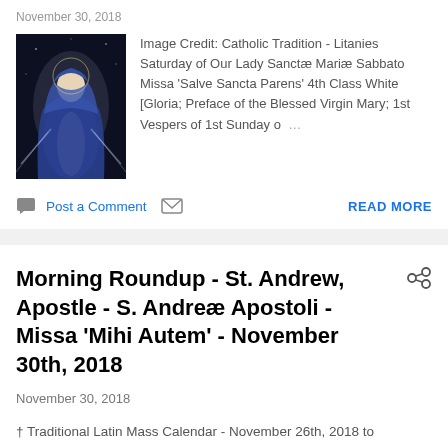[Figure (photo): Religious image of the Virgin Mary in blue robes with light rays emanating from her hands, dark background]
Image Credit: Catholic Tradition - Litanies Saturday of Our Lady Sanctæ Mariæ Sabbato Missa 'Salve Sancta Parens' 4th Class White [Gloria; Preface of the Blessed Virgin Mary; 1st Vespers of 1st Sunday o…
Post a Comment
READ MORE
Morning Roundup - St. Andrew, Apostle - S. Andreæ Apostoli - Missa 'Mihi Autem' - November 30th, 2018
November 30, 2018
† Traditional Latin Mass Calendar - November 26th, 2018 to December 2nd, 2018 - Ordo for the Week Atonement Online